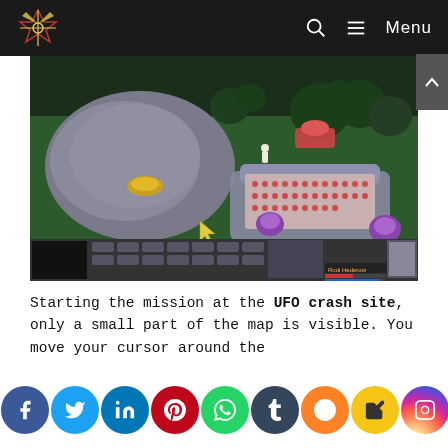Menu
[Figure (screenshot): Screenshot of a retro strategy/RPG game showing an isometric battlefield with UFO crash site, units, and game HUD at the bottom]
Starting the mission at the UFO crash site, only a small part of the map is visible. You move your cursor around the map and at first glance,